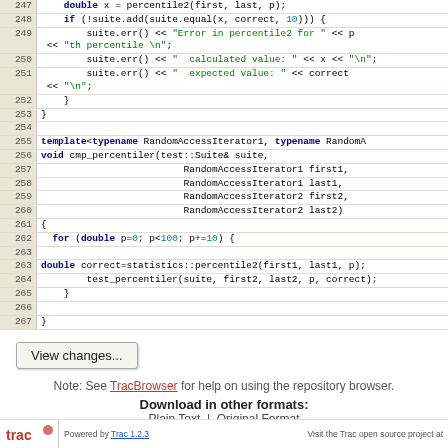[Figure (screenshot): Code listing showing C++ template functions with line numbers 247-267. Lines show percentile2 function call, suite error checking, and cmp_percentiler template function definition with for loop iterating p from 0 to 100 in steps of 10.]
View changes...
Note: See TracBrowser for help on using the repository browser.
Download in other formats:
Plain Text | Original Format
Powered by Trac 1.2.3 | Visit the Trac open source project at